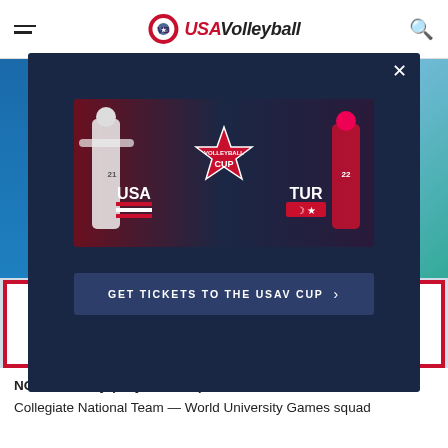USA Volleyball
[Figure (screenshot): Modal popup on USAVolleyball.org showing USA Volleyball Cup promotion banner with USA vs TUR matchup image and a 'GET TICKETS TO THE USAV CUP' button]
NOCERA, Italy (July 10, 2019) – The U.S. Women's Collegiate National Team — World University Games squad